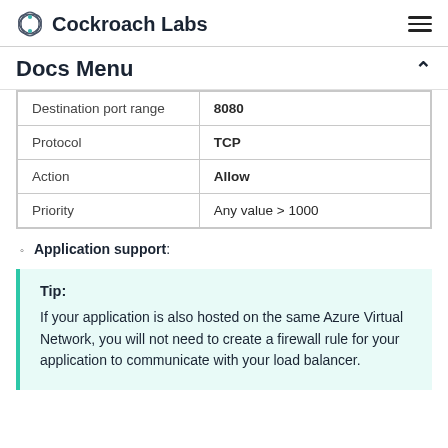Cockroach Labs
Docs Menu
| Destination port range | 8080 |
| Protocol | TCP |
| Action | Allow |
| Priority | Any value > 1000 |
Application support:
Tip: If your application is also hosted on the same Azure Virtual Network, you will not need to create a firewall rule for your application to communicate with your load balancer.